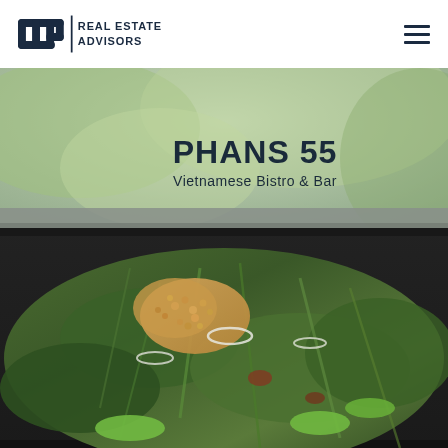CCP Real Estate Advisors
[Figure (photo): Close-up photo of Vietnamese food dish with herbs, greens, peanuts, and toppings in a dark tray, with blurred greenery in the background. Text overlay reads 'PHANS 55 Vietnamese Bistro & Bar']